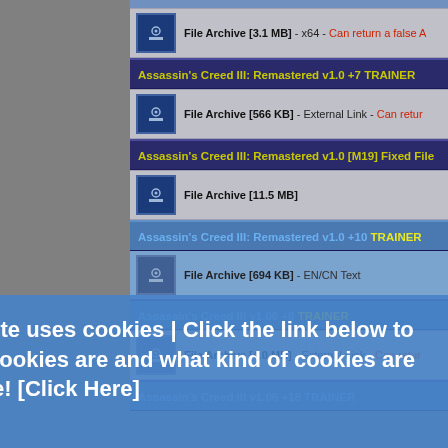File Archive [3.1 MB] - x64 - Can return a false A
Assassin's Creed III: Remastered v1.0 +7 TRAINER
File Archive [566 KB] - External Link - Can retur
Assassin's Creed III: Remastered v1.0 [M19] Fixed File
File Archive [11.5 MB]
Assassin's Creed III: Remastered v1.0 +10 TRAINER
File Archive [694 KB] - EN/CN Text
Assassin's Creed III v1.06 +8 TRAINER
File Archive [4.0 MB] - External Link - Can retur
Assassin's Creed III v1.06 +18 TRAINER
This website uses cookies | Click the link below to see what cookies are and what kind of cookies are in use here!  [Click Here]
Got it!